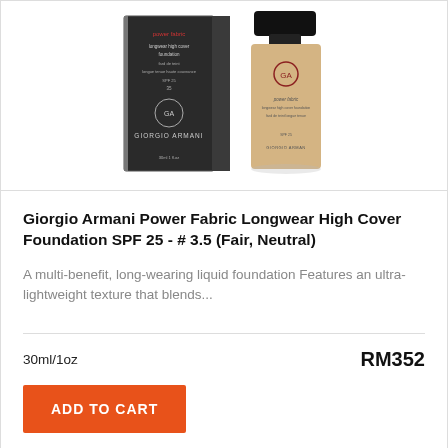[Figure (photo): Giorgio Armani Power Fabric foundation product photo showing box packaging (dark/black with Giorgio Armani branding) and the glass bottle with golden/beige liquid inside, on white background]
Giorgio Armani Power Fabric Longwear High Cover Foundation SPF 25 - # 3.5 (Fair, Neutral)
A multi-benefit, long-wearing liquid foundation Features an ultra-lightweight texture that blends...
30ml/1oz
RM352
ADD TO CART